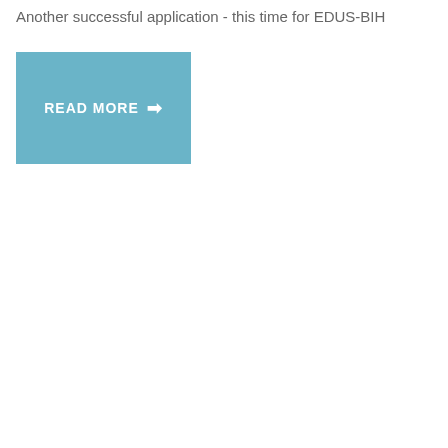Another successful application - this time for EDUS-BIH
[Figure (other): READ MORE button with right arrow, teal/blue background color]